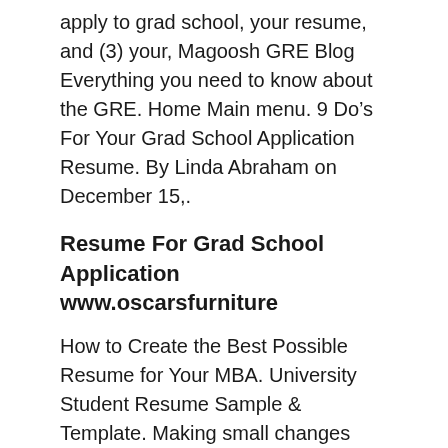apply to grad school, your resume, and (3) your, Magoosh GRE Blog Everything you need to know about the GRE. Home Main menu. 9 Do’s For Your Grad School Application Resume. By Linda Abraham on December 15,.
Resume For Grad School Application
www.oscarsfurniture
How to Create the Best Possible Resume for Your MBA. University Student Resume Sample & Template. Making small changes doesn't mean you have to completely rewrite your resume for each application, though., How To Write